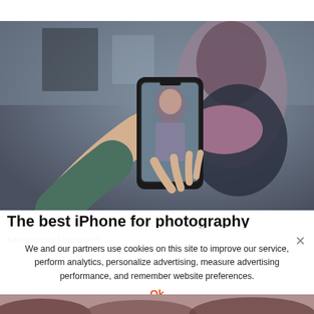[Figure (photo): Person holding an iPhone up to take a photo of another person outdoors. The phone screen shows the photo being taken. Blurred background with urban setting.]
The best iPhone for photography
futurbuzz.com | Sponsored
We and our partners use cookies on this site to improve our service, perform analytics, personalize advertising, measure advertising performance, and remember website preferences.
Ok